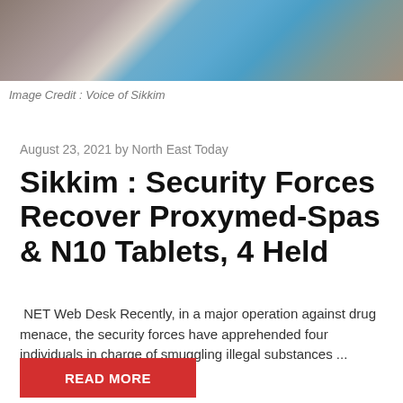[Figure (photo): Photograph showing seized drugs/tablets laid out on ground, partial view of person on left side]
Image Credit : Voice of Sikkim
August 23, 2021 by North East Today
Sikkim : Security Forces Recover Proxymed-Spas & N10 Tablets, 4 Held
NET Web Desk Recently, in a major operation against drug menace, the security forces have apprehended four individuals in charge of smuggling illegal substances ...
READ MORE